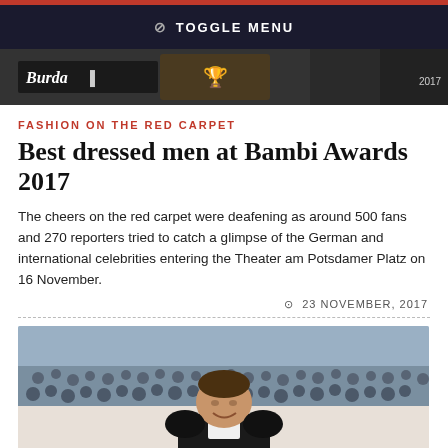TOGGLE MENU
[Figure (photo): Dark banner header image showing Burda logo and year 2017]
FASHION ON THE RED CARPET
Best dressed men at Bambi Awards 2017
The cheers on the red carpet were deafening as around 500 fans and 270 reporters tried to catch a glimpse of the German and international celebrities entering the Theater am Potsdamer Platz on 16 November.
23 NOVEMBER, 2017
[Figure (photo): A smiling man in a dark suit standing in front of a large crowd of photographers and spectators at an outdoor event]